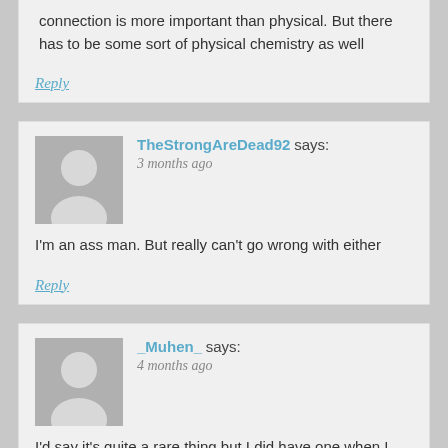connection is more important than physical. But there has to be some sort of physical chemistry as well
Reply
TheStrongAreDead92 says:
3 months ago
I'm an ass man. But really can't go wrong with either
Reply
_Muhen_ says:
4 months ago
I'd say it's quite a rare thing but I did have one when I was 24, was a good dynamic.
Reply